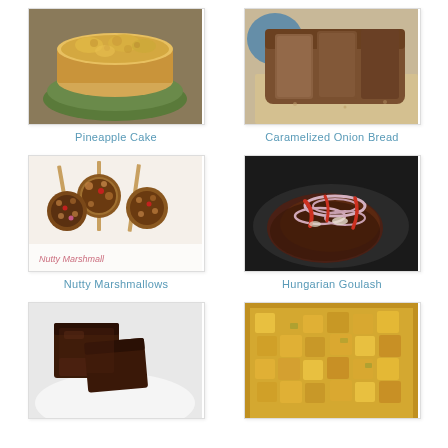[Figure (photo): Pineapple Cake - golden round cake with crumbly pineapple topping on a green plate]
Pineapple Cake
[Figure (photo): Caramelized Onion Bread - sliced dark brown bread loaf on a cutting board]
Caramelized Onion Bread
[Figure (photo): Nutty Marshmallows - chocolate covered marshmallow pops with nuts and red candies, text 'Nutty Marshmall' visible]
Nutty Marshmallows
[Figure (photo): Hungarian Goulash - meat in dark sauce topped with sliced red onions and red peppers in a dark pan]
Hungarian Goulash
[Figure (photo): Dark chocolate brownies on a white plate - partially visible at bottom]
[Figure (photo): Diced cooked orange/yellow fruit or vegetable dish - partially visible at bottom]